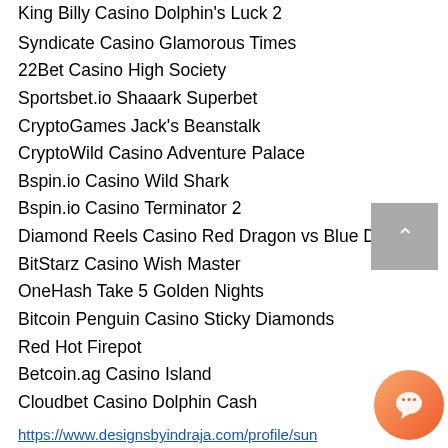King Billy Casino Dolphin's Luck 2
Syndicate Casino Glamorous Times
22Bet Casino High Society
Sportsbet.io Shaaark Superbet
CryptoGames Jack's Beanstalk
CryptoWild Casino Adventure Palace
Bspin.io Casino Wild Shark
Bspin.io Casino Terminator 2
Diamond Reels Casino Red Dragon vs Blue Dragon
BitStarz Casino Wish Master
OneHash Take 5 Golden Nights
Bitcoin Penguin Casino Sticky Diamonds
Red Hot Firepot
Betcoin.ag Casino Island
Cloudbet Casino Dolphin Cash
https://www.designsbyindraja.com/profile/sunnyconti15192508/profile
https://www.flavas247.com/profile/emiliotessendorf254192/profile
https://www.shelb...anyinc.com/profil